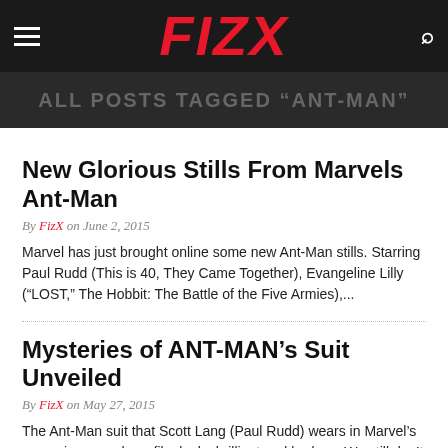FIZX
ALL POSTS TAGGED "ANT-MAN"
New Glorious Stills From Marvels Ant-Man
By FizX on June 2, 2015
Marvel has just brought online some new Ant-Man stills. Starring Paul Rudd (This is 40, They Came Together), Evangeline Lilly (“LOST,” The Hobbit: The Battle of the Five Armies),...
Mysteries of ANT-MAN’s Suit Unveiled
By FizX on May 27, 2015
The Ant-Man suit that Scott Lang (Paul Rudd) wears in Marvel’s upcoming superhero film looks brilliant and badass. We still don’t know how this miracle suit...